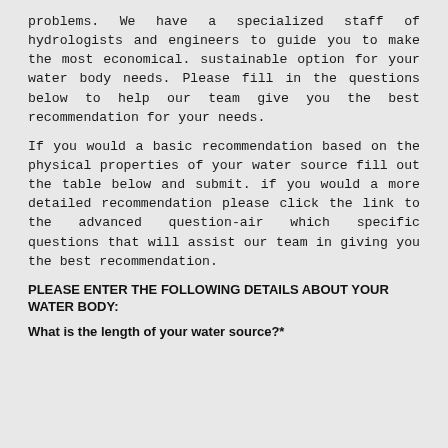problems. We have a specialized staff of hydrologists and engineers to guide you to make the most economical. sustainable option for your water body needs. Please fill in the questions below to help our team give you the best recommendation for your needs.
If you would a basic recommendation based on the physical properties of your water source fill out the table below and submit. if you would a more detailed recommendation please click the link to the advanced question-air which specific questions that will assist our team in giving you the best recommendation.
PLEASE ENTER THE FOLLOWING DETAILS ABOUT YOUR WATER BODY:
What is the length of your water source?*